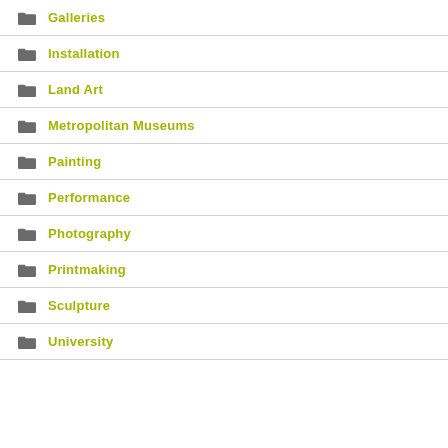Galleries
Installation
Land Art
Metropolitan Museums
Painting
Performance
Photography
Printmaking
Sculpture
University